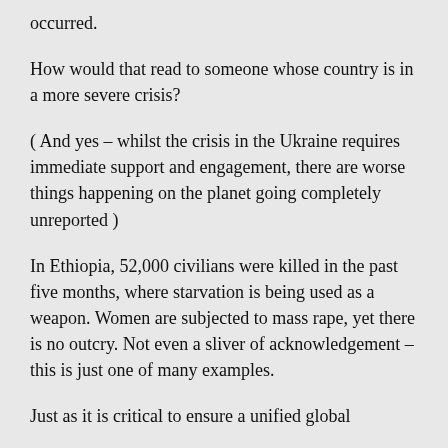occurred.
How would that read to someone whose country is in a more severe crisis?
( And yes – whilst the crisis in the Ukraine requires immediate support and engagement, there are worse things happening on the planet going completely unreported )
In Ethiopia, 52,000 civilians were killed in the past five months, where starvation is being used as a weapon. Women are subjected to mass rape, yet there is no outcry. Not even a sliver of acknowledgement – this is just one of many examples.
Just as it is critical to ensure a unified global